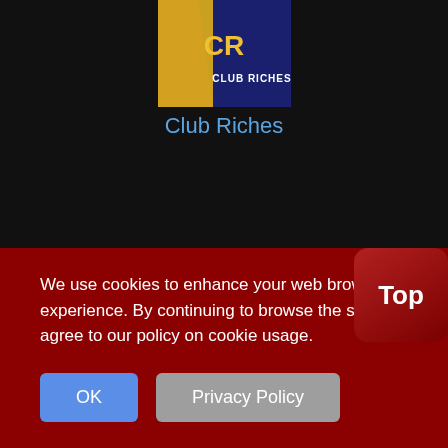[Figure (logo): Club Riches casino logo - dark blue background with gold CR letters and CLUB RICHES text]
Club Riches
Live Casino
Sweet Bonanza CandyLand, Peachie Lightning Blackjack, Lightning Roulette, Gonzos Treasure Hunt, MONOPOLY Live, Roulette Lobby, Lightning Baccarat, Instant
We use cookies to enhance your web browsing experience. By continuing to browse the site you agree to our policy on cookie usage.